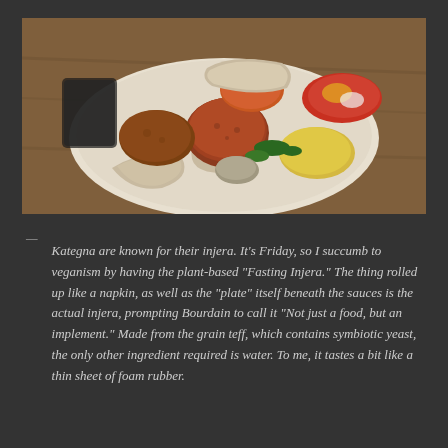[Figure (photo): A plate of Ethiopian food — Fasting Injera — served on white injera flatbread acting as the plate, with various plant-based stews and sauces arranged on top, including rolled injera, lentil mound, yellow and red sauces, and green vegetables. Shot from above on a wooden table.]
— Kategna are known for their injera. It’s Friday, so I succumb to veganism by having the plant-based “Fasting Injera.” The thing rolled up like a napkin, as well as the “plate” itself beneath the sauces is the actual injera, prompting Bourdain to call it “Not just a food, but an implement.” Made from the grain teff, which contains symbiotic yeast, the only other ingredient required is water. To me, it tastes a bit like a thin sheet of foam rubber.